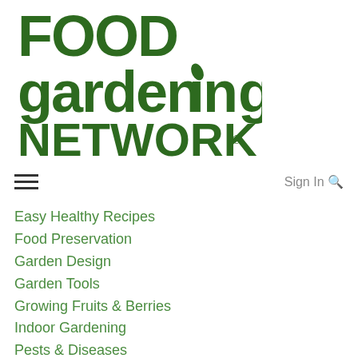[Figure (logo): Food Gardening Network logo in dark green with stylized bold text and a small leaf accent on the letter i in gardening]
Easy Healthy Recipes
Food Preservation
Garden Design
Garden Tools
Growing Fruits & Berries
Indoor Gardening
Pests & Diseases
Seeds & Seedlings
Soil & Fertilizer
Spice & Herb Gardening
Vegetable Gardening
Watering & Irrigation